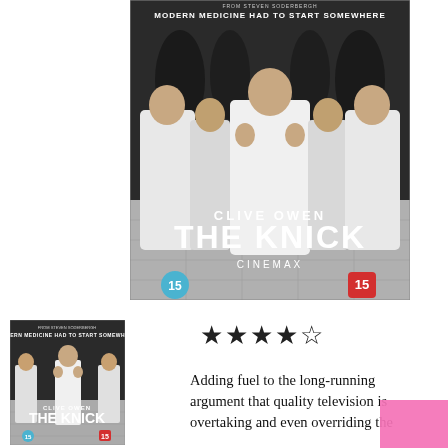[Figure (photo): Large DVD cover for 'The Knick' featuring Clive Owen in white surgical attire surrounded by medical staff in an operating theater. Text reads 'MODERN MEDICINE HAD TO START SOMEWHERE', 'CLIVE OWEN', 'THE KNICK', 'CINEMAX', with age rating badges showing '15' on both sides.]
[Figure (photo): Small thumbnail of the same 'The Knick' DVD cover with Clive Owen.]
★★★★☆
Adding fuel to the long-running argument that quality television is overtaking and even overriding the